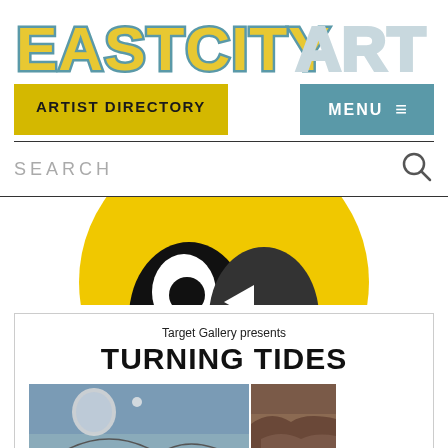[Figure (logo): EastCityArt logo in large block letters — EASTCITY in yellow with teal outline, ART in light gray/white with outline]
ARTIST DIRECTORY
MENU ≡
SEARCH
[Figure (illustration): Yellow circle partially visible, containing a black-and-white abstract face/bird shape]
[Figure (photo): Promotional card: 'Target Gallery presents TURNING TIDES' with two photo collages below showing outdoor sculpture and landscape imagery]